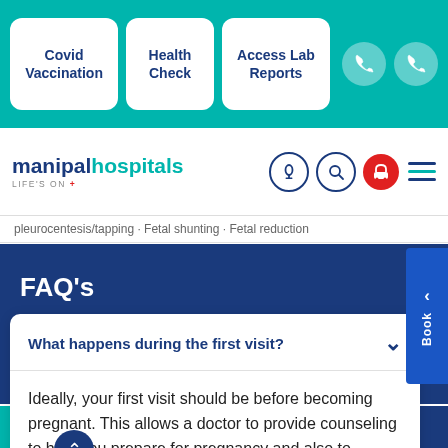Covid Vaccination | Health Check | Access Lab Reports
[Figure (logo): Manipal Hospitals logo with 'LIFE'S ON' tagline]
pleurocentesis/tapping · Fetal shunting · Fetal reduction
FAQ's
What happens during the first visit?
Ideally, your first visit should be before becoming pregnant. This allows a doctor to provide counseling to help you prepare for pregnancy and also to identify any risk factors that can be reduced and address
Health Check | Book An Appointment